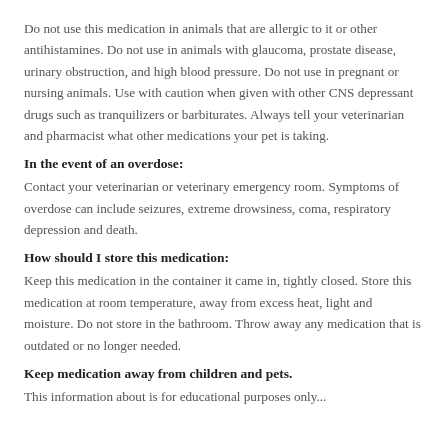Do not use this medication in animals that are allergic to it or other antihistamines. Do not use in animals with glaucoma, prostate disease, urinary obstruction, and high blood pressure. Do not use in pregnant or nursing animals. Use with caution when given with other CNS depressant drugs such as tranquilizers or barbiturates. Always tell your veterinarian and pharmacist what other medications your pet is taking.
In the event of an overdose:
Contact your veterinarian or veterinary emergency room. Symptoms of overdose can include seizures, extreme drowsiness, coma, respiratory depression and death.
How should I store this medication:
Keep this medication in the container it came in, tightly closed. Store this medication at room temperature, away from excess heat, light and moisture. Do not store in the bathroom. Throw away any medication that is outdated or no longer needed.
Keep medication away from children and pets.
This information about is for educational purposes only...